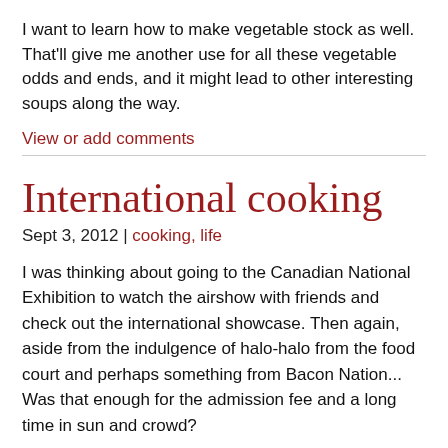I want to learn how to make vegetable stock as well. That'll give me another use for all these vegetable odds and ends, and it might lead to other interesting soups along the way.
View or add comments
International cooking
Sept 3, 2012 | cooking, life
I was thinking about going to the Canadian National Exhibition to watch the airshow with friends and check out the international showcase. Then again, aside from the indulgence of halo-halo from the food court and perhaps something from Bacon Nation... Was that enough for the admission fee and a long time in sun and crowd?